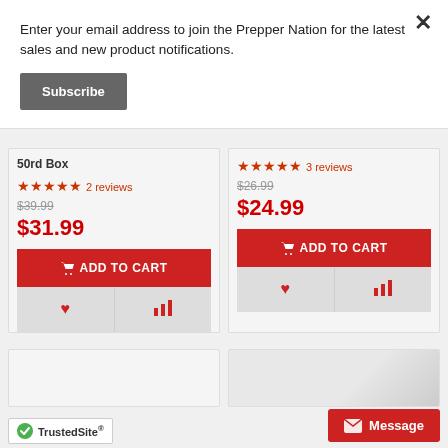Enter your email address to join the Prepper Nation for the latest sales and new product notifications.
Subscribe
50rd Box
★★★★★ 2 reviews
$39.99
$31.99
ADD TO CART
★★★★★ 3 reviews
$26.99
$24.99
ADD TO CART
[Figure (screenshot): TrustedSite badge at bottom left]
Message